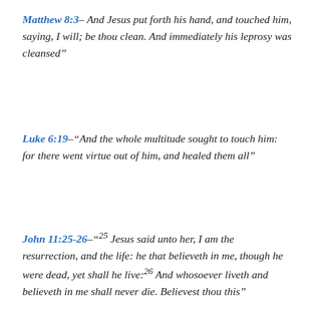Matthew 8:3– And Jesus put forth his hand, and touched him, saying, I will; be thou clean. And immediately his leprosy was cleansed"
Luke 6:19–"And the whole multitude sought to touch him: for there went virtue out of him, and healed them all"
John 11:25-26–"25 Jesus said unto her, I am the resurrection, and the life: he that believeth in me, though he were dead, yet shall he live:26 And whosoever liveth and believeth in me shall never die. Believest thou this"